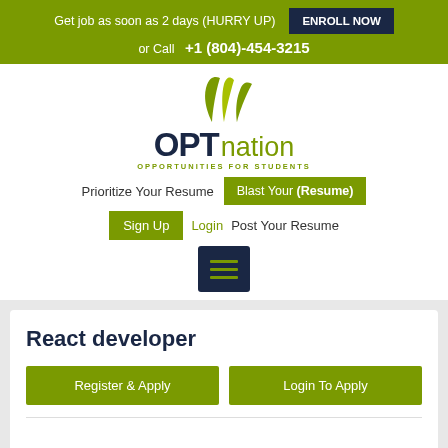Get job as soon as 2 days (HURRY UP)  ENROLL NOW
or Call  +1 (804)-454-3215
[Figure (logo): OPTnation logo with leaves graphic and tagline OPPORTUNITIES FOR STUDENTS]
Prioritize Your Resume   Blast Your (Resume)
Sign Up   Login   Post Your Resume
[Figure (other): Hamburger menu button icon]
React developer
Register & Apply   Login To Apply